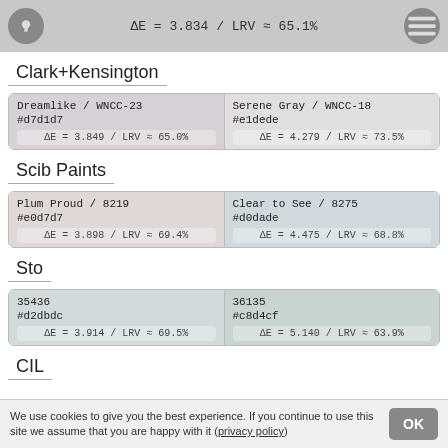#adadee  ΔE = 3.834 / LRV ≈ 65.1%
Clark+Kensington
| Paint | Paint |
| --- | --- |
| Dreamlike / WNCC-23
#d7d1d7
ΔE = 3.849 / LRV ≈ 65.0% | Serene Gray / WNCC-18
#e1dede
ΔE = 4.279 / LRV ≈ 73.5% |
Scib Paints
| Paint | Paint |
| --- | --- |
| Plum Proud / 8219
#e0d7d7
ΔE = 3.898 / LRV ≈ 69.4% | Clear to See / 8275
#d0dade
ΔE = 4.475 / LRV ≈ 68.8% |
Sto
| Paint | Paint |
| --- | --- |
| 35436
#d2dbdc
ΔE = 3.914 / LRV ≈ 69.5% | 36135
#c8d4cf
ΔE = 5.140 / LRV ≈ 63.9% |
CIL
We use cookies to give you the best experience. If you continue to use this site we assume that you are happy with it (privacy policy)